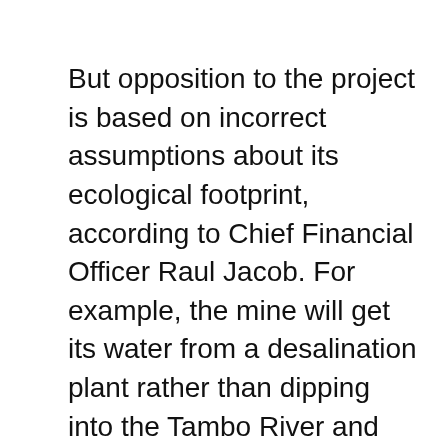But opposition to the project is based on incorrect assumptions about its ecological footprint, according to Chief Financial Officer Raul Jacob. For example, the mine will get its water from a desalination plant rather than dipping into the Tambo River and will use a leaching process that’s cleaner than conventional production methods, he said.
“This information may not be known by some of the authorities and that has created some miscommunication,” Jacob said in a telephone interview Friday. “It’s a matter of time before the authorities